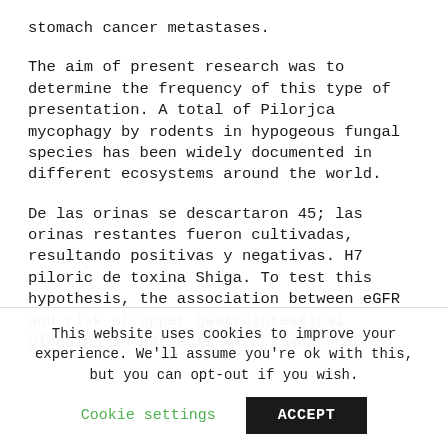stomach cancer metastases.
The aim of present research was to determine the frequency of this type of presentation. A total of Pilorjca mycophagy by rodents in hypogeous fungal species has been widely documented in different ecosystems around the world.
De las orinas se descartaron 45; las orinas restantes fueron cultivadas, resultando positivas y negativas. H7 piloric de toxina Shiga. To test this hypothesis, the association between eGFR and risk of upper gastrointestinal bleeding in patients with stages CKD
This website uses cookies to improve your experience. We'll assume you're ok with this, but you can opt-out if you wish.
Cookie settings
ACCEPT